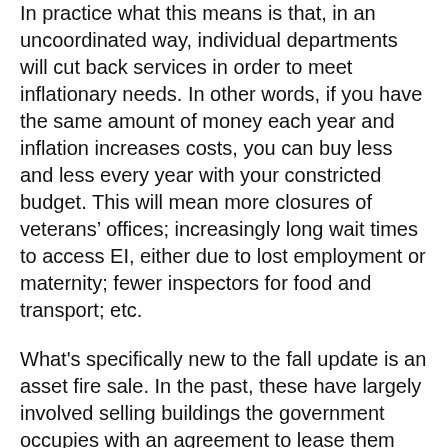In practice what this means is that, in an uncoordinated way, individual departments will cut back services in order to meet inflationary needs. In other words, if you have the same amount of money each year and inflation increases costs, you can buy less and less every year with your constricted budget. This will mean more closures of veterans' offices; increasingly long wait times to access EI, either due to lost employment or maternity; fewer inspectors for food and transport; etc.
What's specifically new to the fall update is an asset fire sale. In the past, these have largely involved selling buildings the government occupies with an agreement to lease them back for a long period assuring sustained profits for new landlords, well above whatever they bought it for.  This makes poor economic sense, particularly to finance election promises in 2015.
In short, the larger surplus in the fall update is